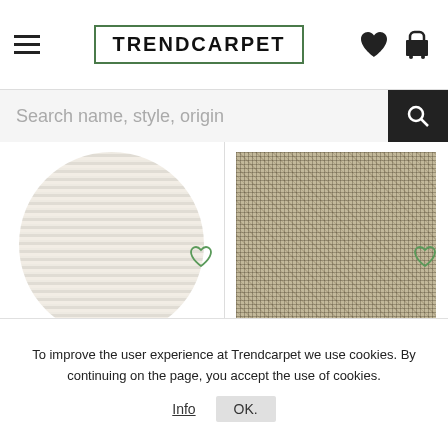TRENDCARPET
Search name, style, origin
[Figure (photo): Round rug sample in greige/cream color, circular shape with vertical texture lines]
Round rug - Coastal (greige)
[Figure (photo): Wool rug sample in beige color, square shape with woven texture pattern]
Wool rug - Luna (beige)
To improve the user experience at Trendcarpet we use cookies. By continuing on the page, you accept the use of cookies.
Info
OK.